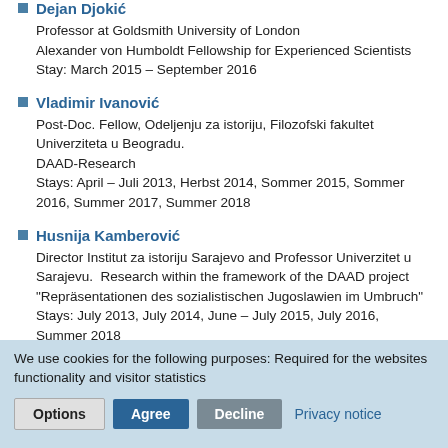Dejan Djokić
Professor at Goldsmith University of London
Alexander von Humboldt Fellowship for Experienced Scientists
Stay: March 2015 – September 2016
Vladimir Ivanović
Post-Doc. Fellow, Odeljenju za istoriju, Filozofski fakultet Univerziteta u Beogradu.
DAAD-Research
Stays: April – Juli 2013, Herbst 2014, Sommer 2015, Sommer 2016, Summer 2017, Summer 2018
Husnija Kamberović
Director Institut za istoriju Sarajevo and Professor Univerzitet u Sarajevu.  Research within the framework of the DAAD project "Repräsentationen des sozialistischen Jugoslawien im Umbruch"
Stays: July 2013, July 2014, June – July 2015, July 2016, Summer 2018
Jure Ramšak
Post Doc University of Primorska, Koper
We use cookies for the following purposes: Required for the websites functionality and visitor statistics